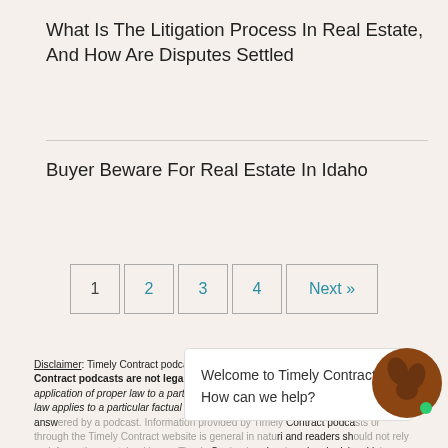What Is The Litigation Process In Real Estate, And How Are Disputes Settled
Buyer Beware For Real Estate In Idaho
1  2  3  4  Next »
Disclaimer: Timely Contract podcasts are meant to be informative; however, Timely Contract podcasts are not legal advice. Legal advice is the result of the application of proper law to a particular set of circumstances. Whether or how the law applies to a particular factual situation is a legal question that cannot be answered by a podcast. Information provided by Timely Contract podcasts or through the Timely Contract website is general in nature and readers should not rely on information contained in any Timely Contract podcast, as legal advice. Listeners should seek counsel and get a true legal opinion before taking actions regarding real